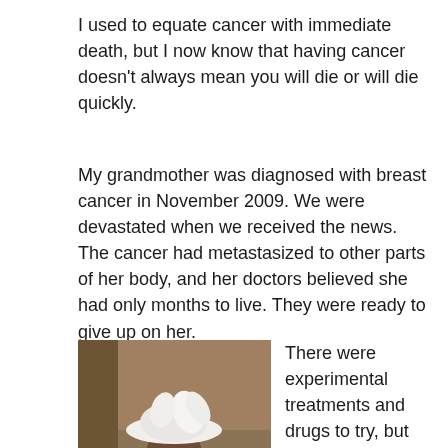I used to equate cancer with immediate death, but I now know that having cancer doesn't always mean you will die or will die quickly.
My grandmother was diagnosed with breast cancer in November 2009. We were devastated when we received the news. The cancer had metastasized to other parts of her body, and her doctors believed she had only months to live. They were ready to give up on her.
[Figure (photo): An elderly woman wearing a pink blazer, white top, pearl necklace, and a large white decorative hat, smiling at the camera.]
There were experimental treatments and drugs to try, but her prognosis wasn't good.

We opted to try whatever treatments the doctors could do to prolong her